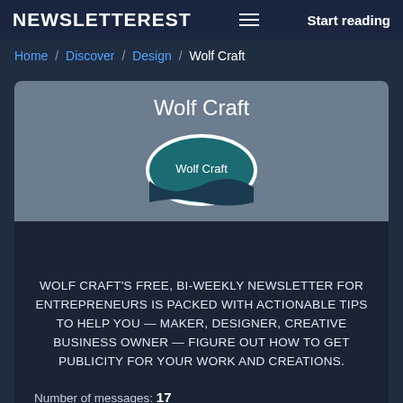NEWSLETTEREST  Start reading
Home / Discover / Design / Wolf Craft
Wolf Craft
[Figure (logo): Wolf Craft oval logo with teal and dark background and white text 'Wolf Craft']
WOLF CRAFT'S FREE, BI-WEEKLY NEWSLETTER FOR ENTREPRENEURS IS PACKED WITH ACTIONABLE TIPS TO HELP YOU — MAKER, DESIGNER, CREATIVE BUSINESS OWNER — FIGURE OUT HOW TO GET PUBLICITY FOR YOUR WORK AND CREATIONS.
Number of messages: 17